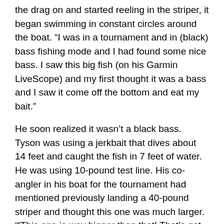the drag on and started reeling in the striper, it began swimming in constant circles around the boat. “I was in a tournament and in (black) bass fishing mode and I had found some nice bass. I saw this big fish (on his Garmin LiveScope) and my first thought it was a bass and I saw it come off the bottom and eat my bait.”
He soon realized it wasn’t a black bass. Tyson was using a jerkbait that dives about 14 feet and caught the fish in 7 feet of water. He was using 10-pound test line. His co-angler in his boat for the tournament had mentioned previously landing a 40-pound striper and thought this one was much larger. ‘“This one is way bigger than that! That’s got to be a world record!’” Tyson recalls his co-angler, Philip James, yelling as Tyson got ahold of the striper’s mouth and flipped it into the boat so he could take some photos. “I had a cranking rod by Halo and at one point it was bent back to the reel, and I was